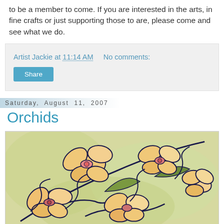to be a member to come. If you are interested in the arts, in fine crafts or just supporting those to are, please come and see what we do.
Artist Jackie at 11:14 AM   No comments:
Share
Saturday, August 11, 2007
Orchids
[Figure (illustration): Painting of orchid flowers with colorful petals in yellow, orange, and pink tones with dark outlines, on a light greenish-yellow background. Multiple blooms are shown on a branch.]